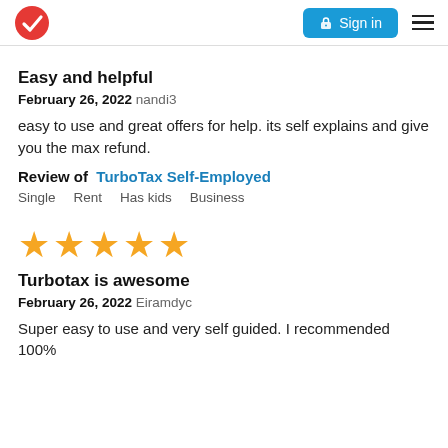Sign in
Easy and helpful
February 26, 2022 nandi3
easy to use and great offers for help. its self explains and give you the max refund.
Review of  TurboTax Self-Employed
Single    Rent    Has kids    Business
[Figure (other): 5 gold stars rating]
Turbotax is awesome
February 26, 2022 Eiramdyc
Super easy to use and very self guided. I recommended 100%